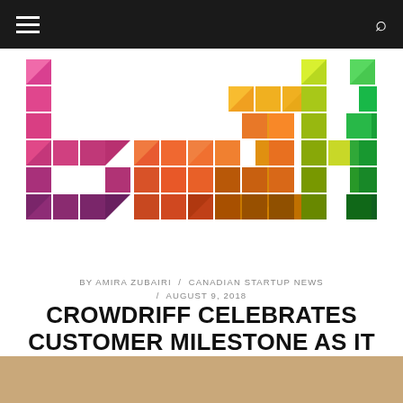betakit navigation bar
[Figure (logo): BetaKit logo made of colorful pixel/triangle blocks spelling 'betakit']
BY AMIRA ZUBAIRI / CANADIAN STARTUP NEWS / AUGUST 9, 2018
CROWDRIFF CELEBRATES CUSTOMER MILESTONE AS IT PURSUES GLOBAL EXPANSION
[Figure (photo): Partial view of an interior space with wooden ceiling panels]